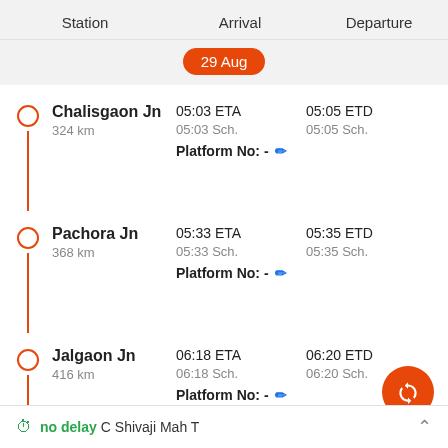| Station | Arrival | Departure |
| --- | --- | --- |
| Chalisgaon Jn
324 km | 05:03 ETA
05:03 Sch.
Platform No: - | 05:05 ETD
05:05 Sch. |
| Pachora Jn
368 km | 05:33 ETA
05:33 Sch.
Platform No: - | 05:35 ETD
05:35 Sch. |
| Jalgaon Jn
416 km | 06:18 ETA
06:18 Sch.
Platform No: - | 06:20 ETD
06:20 Sch. |
29 Aug
no delay C Shivaji Mah T